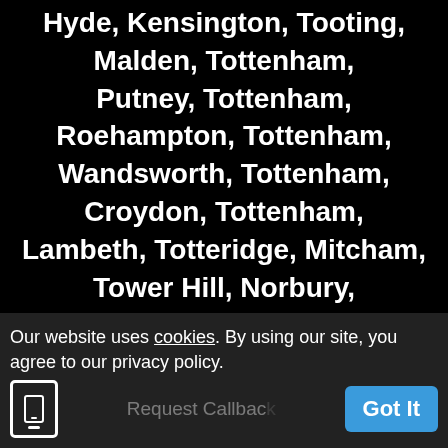Hyde, Kensington, Tooting, Malden, Tottenham, Putney, Tottenham, Roehampton, Tottenham, Wandsworth, Tottenham, Croydon, Tottenham, Lambeth, Totteridge, Mitcham, Tower Hill, Norbury, Tufnell Park, Streatham, Tulse Hill, Wandsworth, Upper Edmonton, Battersea, Upper Holloway, Mitcham, Upper Norwood, Tooting, Upper Sydenham, Wandsworth, Upton Park, Wimbledon, Vauxhall, Battersea, Victoria, Earlsfield, Victoria Dock, Wandsworth, Walthamstow, Colliers Wood, Walworth, Merton, Wandsworth, Mitcham, Wandsworth, Wandsworth, Wandsworth, Wimbledon, Wandsworth, Cottenham Park,
Our website uses cookies. By using our site, you agree to our privacy policy.
Got It